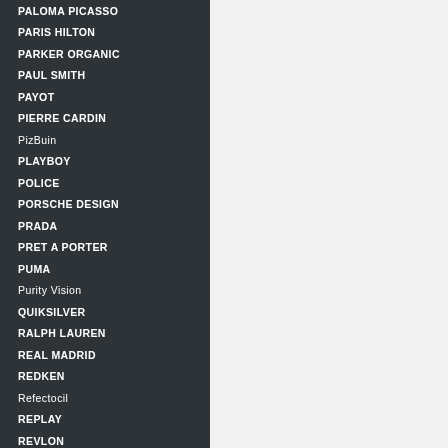PALOMA PICASSO
PARIS HILTON
PARKER ORGANIC
PAUL SMITH
PAYOT
PIERRE CARDIN
PizBuin
PLAYBOY
POLICE
PORSCHE DESIGN
PRADA
PRET A PORTER
PUMA
Purity Vision
QUIKSILVER
RALPH LAUREN
REAL MADRID
REDKEN
Refectocil
REPLAY
REVLON